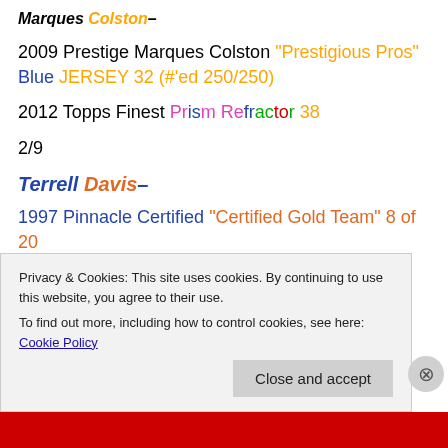Marques Colston–
2009 Prestige Marques Colston "Prestigious Pros" Blue JERSEY 32 (#'ed 250/250)
2012 Topps Finest Prism Refractor 38
2/9
Terrell Davis–
1997 Pinnacle Certified "Certified Gold Team" 8 of 20
1997 Playoff Contenders "..." 16
Privacy & Cookies: This site uses cookies. By continuing to use this website, you agree to their use.
To find out more, including how to control cookies, see here: Cookie Policy
Close and accept